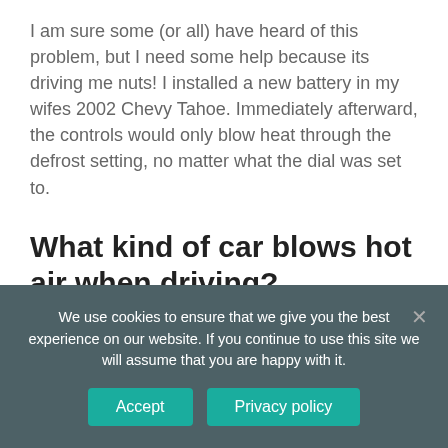I am sure some (or all) have heard of this problem, but I need some help because its driving me nuts! I installed a new battery in my wifes 2002 Chevy Tahoe. Immediately afterward, the controls would only blow heat through the defrost setting, no matter what the dial was set to.
What kind of car blows hot air when driving?
We use cookies to ensure that we give you the best experience on our website. If you continue to use this site we will assume that you are happy with it.